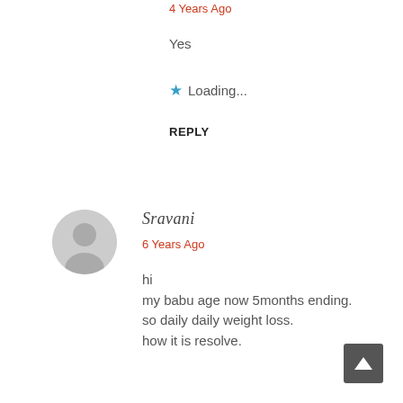4 Years Ago
Yes
★ Loading...
REPLY
Sravani
6 Years Ago
hi
my babu age now 5months ending.
so daily daily weight loss.
how it is resolve.